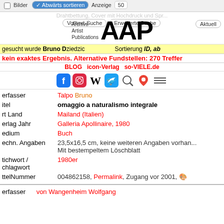Bilder  Abwärts sortieren  Anzeige 50
[Figure (logo): AAP Archive Artist Publications logo with large bold AAP text and smaller stacked text 'Archive Artist Publications']
Volltext-Suche  Erweiterte Suche  Neue Einträge  Aktuell
gesucht wurde Bruno Dziedzic... Sortierung ID, ab
kein exaktes Ergebnis. Alternative Fundstellen: 270 Treffer
BLOG  icon-Verlag  so-VIELE.de
[Figure (infographic): Social media icons row: Facebook, Instagram, Wikipedia, Twitter, search icon, Google Maps icon, hamburger menu]
| Field | Value |
| --- | --- |
| Verfasser | Talpo Bruno |
| Titel | omaggio a naturalismo integrale |
| Ort Land | Mailand (Italien) |
| Verlag Jahr | Galleria Apollinaire, 1980 |
| Medium | Buch |
| Techn. Angaben | 23,5x16,5 cm, keine weiteren Angaben vorhan... Mit bestempeltem Löschblatt |
| Stichwort / Schlagwort | 1980er |
| ArtikelNummer | 004862158, Permalink, Zugang vor 2001, 🎨 |
Verfasser  von Wangenheim Wolfgang